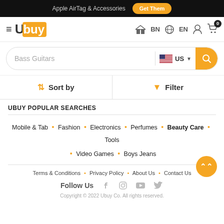Apple AirTag & Accessories  Get Them
[Figure (logo): Ubuy logo with hamburger menu, BN language selector, EN globe, user icon, cart with 0 badge]
Bass Guitars  US  [search button]
Sort by   Filter
UBUY POPULAR SEARCHES
Mobile & Tab • Fashion • Electronics • Perfumes • Beauty Care • Tools • Video Games • Boys Jeans
Terms & Conditions • Privacy Policy • About Us • Contact Us
Follow Us  [Facebook] [Instagram] [YouTube] [Twitter]
Copyright © 2022 Ubuy Co. All rights reserved.